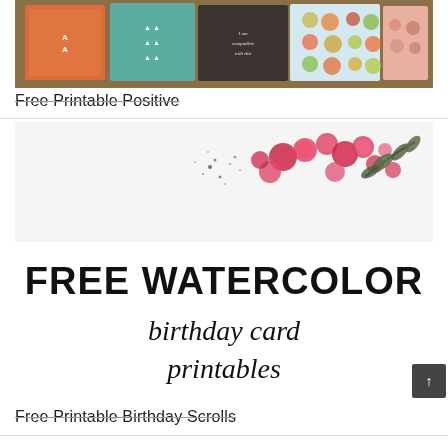[Figure (photo): Photo of colorful printable cards laid out on a wooden surface, showing various decorative patterns including teal with arrows, dark with text quote, and dotted/circle patterns in warm tones]
Free Printable Positive
[Figure (photo): Watercolor birthday card printable image showing pink and red floral watercolor painting at top with text FREE WATERCOLOR birthday card printables in bold and script lettering]
Free Printable Birthday Scrolls